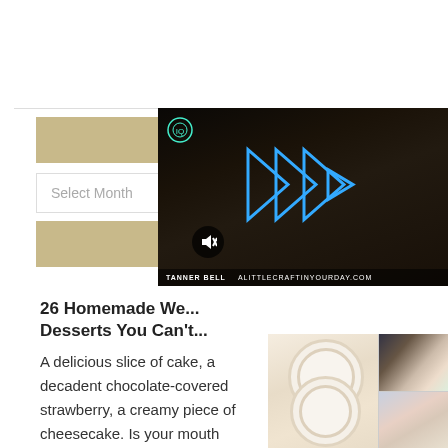ARCHIVES
Select Month
DIY W
26 Homemade We... Desserts You Can't...
A delicious slice of cake, a decadent chocolate-covered strawberry, a creamy piece of cheesecake. Is your mouth
[Figure (screenshot): Video overlay showing a person with play button triangles, IQ icon, mute button, and bottom bar with text TANNER BELL ALITTLECRAFTINYOURDAY.COM]
[Figure (photo): Grid of food dessert photos including white decorated cookies and colorful desserts]